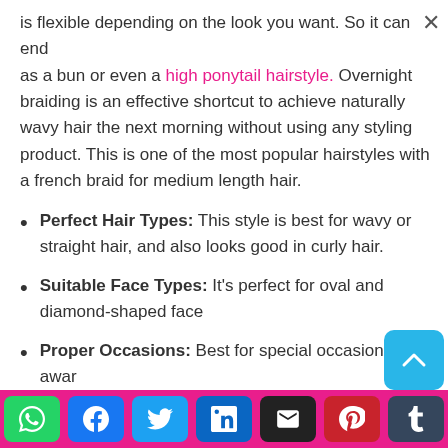is flexible depending on the look you want. So it can end as a bun or even a high ponytail hairstyle. Overnight braiding is an effective shortcut to achieve naturally wavy hair the next morning without using any styling product. This is one of the most popular hairstyles with a french braid for medium length hair.
Perfect Hair Types: This style is best for wavy or straight hair, and also looks good in curly hair.
Suitable Face Types: It's perfect for oval and diamond-shaped face
Proper Occasions: Best for special occasions, award shows, night parties